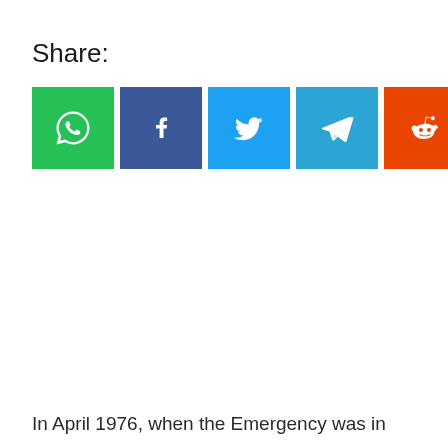Share:
[Figure (infographic): A row of six social media share buttons: WhatsApp (green), Facebook (dark blue), Twitter (light blue), Telegram (blue), Reddit (orange), Email (gray), each showing the respective icon in white.]
In April 1976, when the Emergency was in